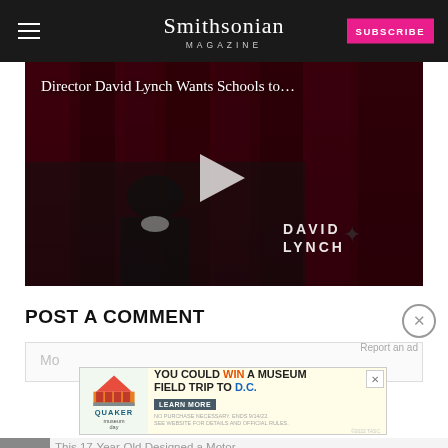Smithsonian MAGAZINE
[Figure (screenshot): Video thumbnail showing director David Lynch in front of a dark red curtain backdrop, with a play button overlay. Title reads 'Director David Lynch Wants Schools to...' and a 'DAVID LYNCH' watermark logo appears bottom right.]
POST A COMMENT
[Figure (screenshot): Advertisement banner: Quaker and Museum Day promotion. Text: 'YOU COULD WIN A MUSEUM FIELD TRIP TO D.C.' with LEARN MORE button. Fine print: 'NO PURCHASE NECESSARY. ENDS 9/14/22. SEE WEBSITE FOR DETAILS AND OFFICIAL RULES.']
This 17-Year-Old Designed a Motor